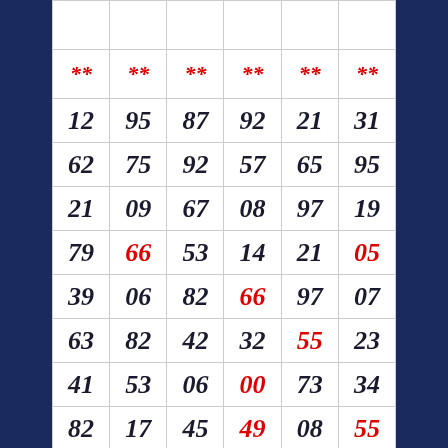|  |  |  |  |  |  |
| --- | --- | --- | --- | --- | --- |
| ** | ** | ** | ** | ** | ** |
| 12 | 95 | 87 | 92 | 21 | 31 |
| 62 | 75 | 92 | 57 | 65 | 95 |
| 21 | 09 | 67 | 08 | 97 | 19 |
| 79 | 66 | 53 | 14 | 21 | 05 |
| 39 | 06 | 82 | 66 | 97 | 07 |
| 63 | 82 | 42 | 32 | 55 | 23 |
| 41 | 53 | 06 | 00 | 73 | 34 |
| 82 | 17 | 45 | 49 | 08 | 55 |
| 70 | 21 | 67 | 69 | 78 | 21 |